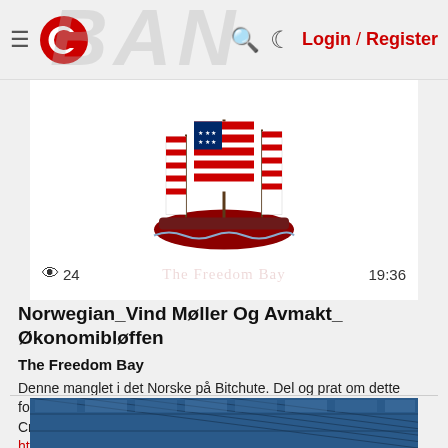≡ [Censored.TV logo] 🔍 ☾ Login / Register
[Figure (screenshot): The Freedom Bay video thumbnail showing a pirate ship with American flag design and text 'The Freedom Bay'. Views: 24, Duration: 19:36]
Norwegian_Vind Møller Og Avmakt_ Økonomibløffen
The Freedom Bay
Denne manglet i det Norske på Bitchute. Del og prat om dette folkens! Credits: Naturfilmkanalen https://www.youtube.com/watch?v=8MrToabuosM
1 day, 12 hours ago
[Figure (photo): Bottom edge of solar panels thumbnail]